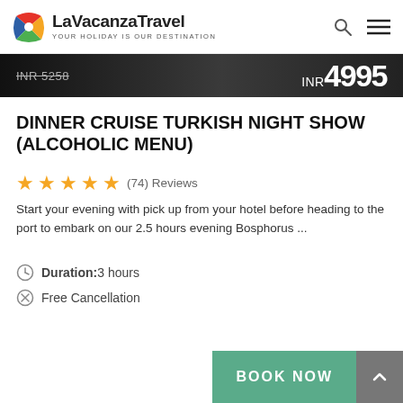[Figure (logo): LaVacanzaTravel logo — colorful pinwheel icon with text 'LaVacanzaTravel' and tagline 'YOUR HOLIDAY IS OUR DESTINATION']
INR 5258 (strikethrough)  INR 4995
DINNER CRUISE TURKISH NIGHT SHOW (ALCOHOLIC MENU)
★★★★★ (74) Reviews
Start your evening with pick up from your hotel before heading to the port to embark on our 2.5 hours evening Bosphorus ...
Duration:3 hours
Free Cancellation
BOOK NOW